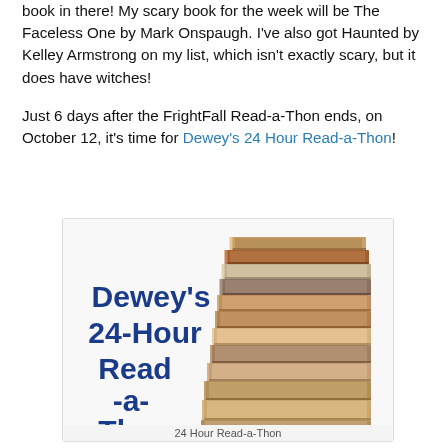book in there! My scary book for the week will be The Faceless One by Mark Onspaugh. I've also got Haunted by Kelley Armstrong on my list, which isn't exactly scary, but it does have witches!

Just 6 days after the FrightFall Read-a-Thon ends, on October 12, it's time for Dewey's 24 Hour Read-a-Thon!
[Figure (illustration): Dewey's 24-Hour Read-a-Thon promotional image showing a tall stack of books on the right side and the text 'Dewey's 24-Hour Read -a- Thon' in dark blue bold font on the left, with partial text at the bottom.]